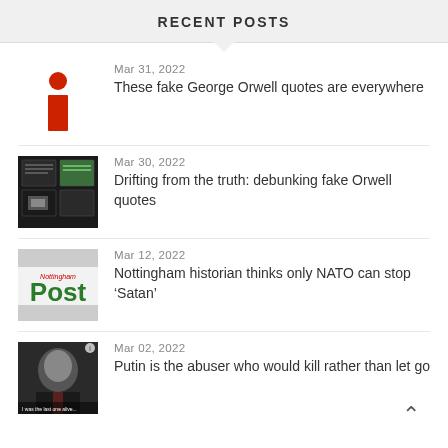RECENT POSTS
Mar 31, 2022 – These fake George Orwell quotes are everywhere
Mar 30, 2022 – Drifting from the truth: debunking fake Orwell quotes
Mar 12, 2022 – Nottingham historian thinks only NATO can stop 'Satan'
Mar 02, 2022 – Putin is the abuser who would kill rather than let go